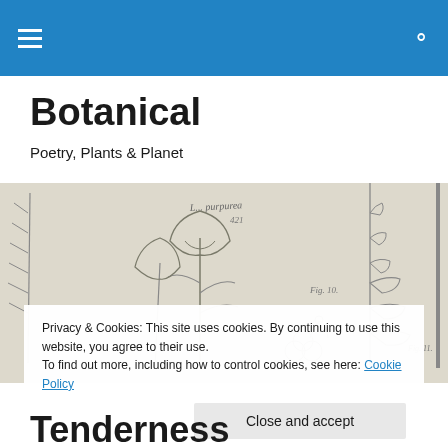Botanical — Poetry, Plants & Planet
Botanical
Poetry, Plants & Planet
[Figure (illustration): Botanical illustration showing sketched flowers and plants including bell-shaped flowers, small clustered blooms, and leafy stems in pencil/grayscale. Handwritten label 'L... purpurea' and 'Fig. 10.' visible.]
Privacy & Cookies: This site uses cookies. By continuing to use this website, you agree to their use.
To find out more, including how to control cookies, see here: Cookie Policy

Close and accept
Tenderness